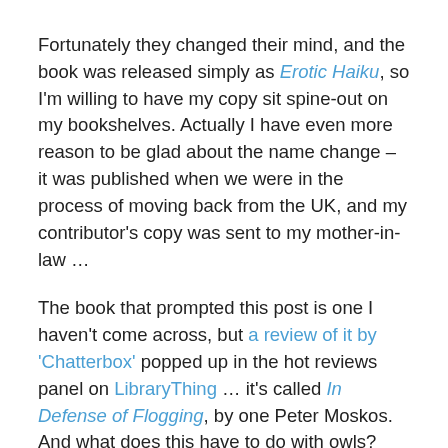Fortunately they changed their mind, and the book was released simply as Erotic Haiku, so I'm willing to have my copy sit spine-out on my bookshelves. Actually I have even more reason to be glad about the name change – it was published when we were in the process of moving back from the UK, and my contributor's copy was sent to my mother-in-law …
The book that prompted this post is one I haven't come across, but a review of it by 'Chatterbox' popped up in the hot reviews panel on LibraryThing … it's called In Defense of Flogging, by one Peter Moskos. And what does this have to do with owls? Think back to Owl Reviews – it's the idea of judging the thing by something that isn't quite the point.
Actually, rereading the title of this post … am I going to get